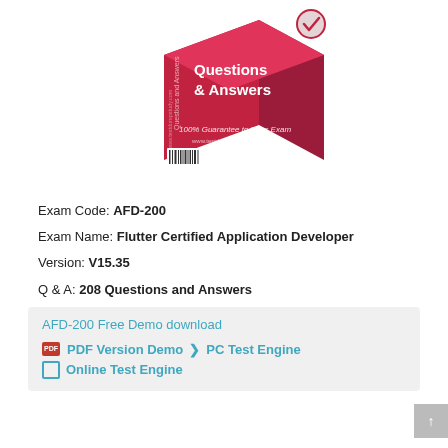[Figure (illustration): A pink/red 3D box product image labeled 'Questions & Answers' with '100% Guarantee to Pass Exam' and a checkmark badge, resembling a study guide product box.]
Exam Code: AFD-200
Exam Name: Flutter Certified Application Developer
Version: V15.35
Q & A: 208 Questions and Answers
AFD-200 Free Demo download
PDF Version Demo  ❯  PC Test Engine
❯  Online Test Engine